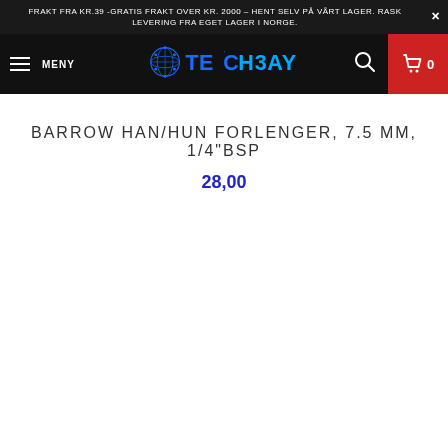FRAKT FRA KR.39 -GRATIS FRAKT OVER KR. 2000 – HENT SELV PÅ VÅRT LAGER. RASK LEVERING FRA EGET LAGER I NORGE.
[Figure (logo): Techbay logo with circuit-pattern globe and stylized text TECHBAY in blue on black navigation bar]
BARROW HAN/HUN FORLENGER, 7.5 MM, 1/4"BSP
28,00